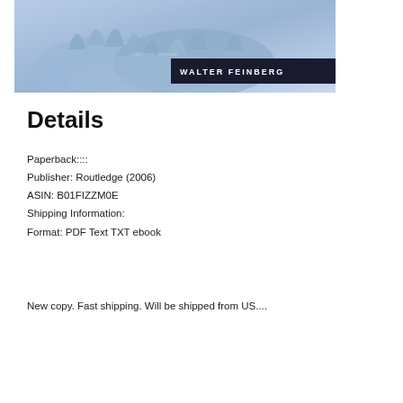[Figure (photo): Book cover image showing clasped hands in blue tones with dark banner showing author name 'WALTER FEINBERG' and watermark text 'Additional Material']
Details
Paperback::::
Publisher: Routledge (2006)
ASIN: B01FIZZM0E
Shipping Information:
Format: PDF Text TXT ebook
New copy. Fast shipping. Will be shipped from US....